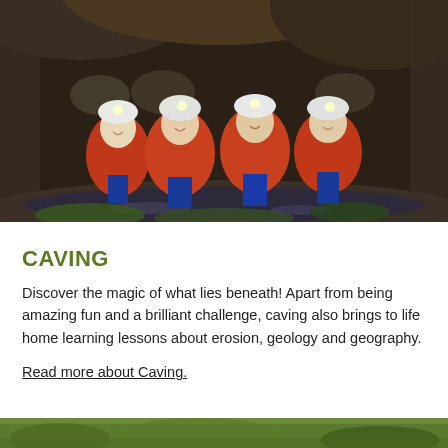[Figure (photo): Four people wearing red and blue caving suits and white helmets with headlamps, posing together in a cave with water on the ground and rocky ceiling above.]
CAVING
Discover the magic of what lies beneath! Apart from being amazing fun and a brilliant challenge, caving also brings to life home learning lessons about erosion, geology and geography.
Read more about Caving.
[Figure (photo): Partial view of another outdoor activity photo at the bottom of the page.]